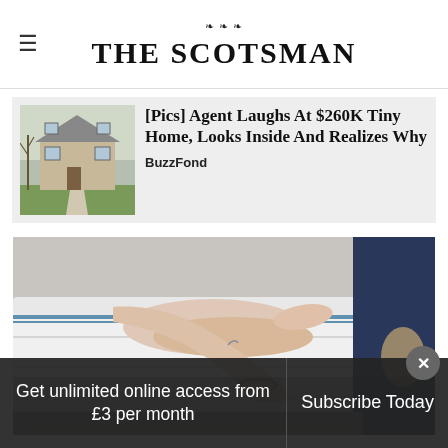THE SCOTSMAN
[Figure (photo): Thumbnail photo of a beige two-story house with green lawn and bare trees. Part of an advertisement card.]
[Pics] Agent Laughs At $260K Tiny Home, Looks Inside And Realizes Why
BuzzFond
[Figure (photo): Close-up photo of a person pressing their hand and arm onto a white mattress, wearing a chain bracelet. Person wearing ripped jeans stands beside the mattress.]
Get unlimited online access from £3 per month
Subscribe Today